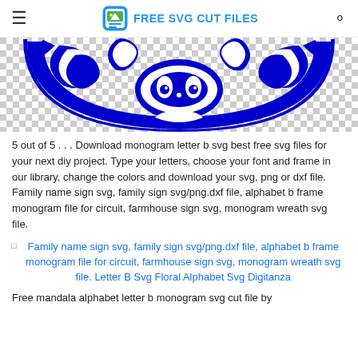FREE SVG CUT FILES
[Figure (illustration): Bottom half of a decorative blue tribal/ornamental monogram SVG design on a checkered transparency background]
5 out of 5 . . . Download monogram letter b svg best free svg files for your next diy project. Type your letters, choose your font and frame in our library, change the colors and download your svg, png or dxf file. Family name sign svg, family sign svg/png.dxf file, alphabet b frame monogram file for circuit, farmhouse sign svg, monogram wreath svg file.
Family name sign svg, family sign svg/png.dxf file, alphabet b frame monogram file for circuit, farmhouse sign svg, monogram wreath svg file. Letter B Svg Floral Alphabet Svg Digitanza
Free mandala alphabet letter b monogram svg cut file by